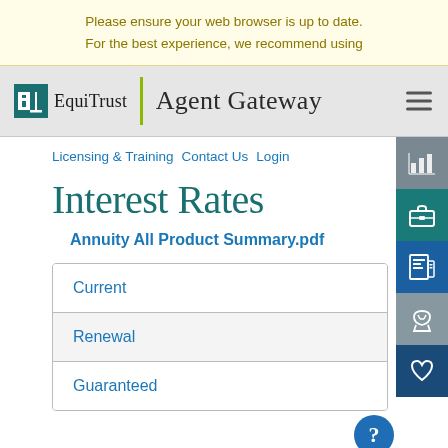Please ensure your web browser is up to date. For the best experience, we recommend using
EquiTrust | Agent Gateway
Licensing & Training  Contact Us  Login
Interest Rates
Annuity All Product Summary.pdf
Current
Renewal
Guaranteed